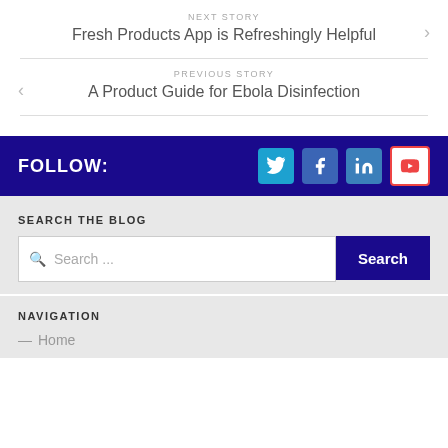NEXT STORY
Fresh Products App is Refreshingly Helpful
PREVIOUS STORY
A Product Guide for Ebola Disinfection
FOLLOW:
SEARCH THE BLOG
Search ...
NAVIGATION
— Home